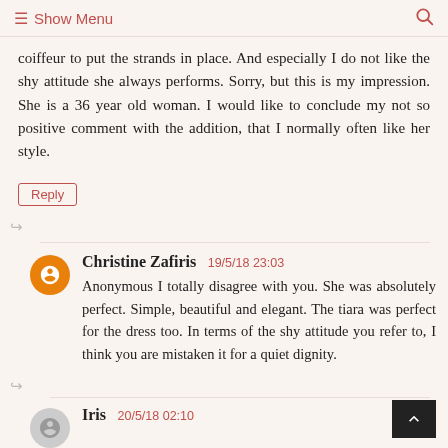Show Menu
coiffeur to put the strands in place. And especially I do not like the shy attitude she always performs. Sorry, but this is my impression. She is a 36 year old woman. I would like to conclude my not so positive comment with the addition, that I normally often like her style.
Christine Zafiris 19/5/18 23:03 — Anonymous I totally disagree with you. She was absolutely perfect. Simple, beautiful and elegant. The tiara was perfect for the dress too. In terms of the shy attitude you refer to, I think you are mistaken it for a quiet dignity.
Iris 20/5/18 02:10